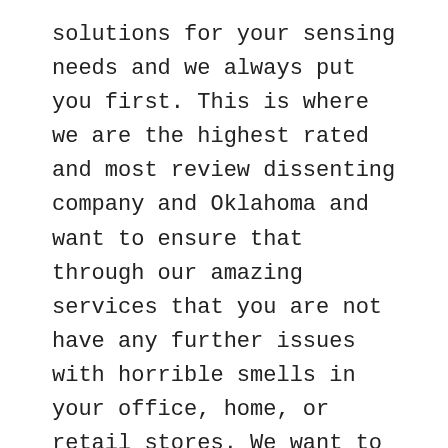solutions for your sensing needs and we always put you first. This is where we are the highest rated and most review dissenting company and Oklahoma and want to ensure that through our amazing services that you are not have any further issues with horrible smells in your office, home, or retail stores. We want to ensure that you are getting the best from us.
Next time you\'re looking for the absolute best in Scent Marketing because you want to company that is going to be able to assist you with any and all of your horrible smells make sure that you come to AromaScapes. Were always in go out of her way to ensure that we provide to you the most comprehensive and cost-effective solution to your needs and this is where was a to be able to provide you the first 30 days of our amazing services probably